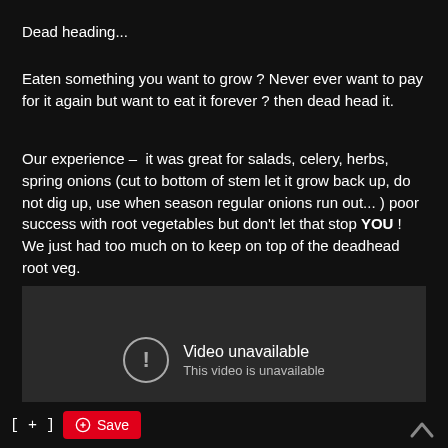Dead heading...
Eaten something you want to grow ? Never ever want to pay for it again but want to eat it forever ? then dead head it.
Our experience –  it was great for salads, celery, herbs, spring onions (cut to bottom of stem let it grow back up, do not dig up, use when season regular onions run out... ) poor success with root vegetables but don't let that stop YOU ! We just had too much on to keep on top of the deadhead root veg.
[Figure (screenshot): Embedded video player showing 'Video unavailable - This video is unavailable' message on a dark grey background]
[ + ]  Save